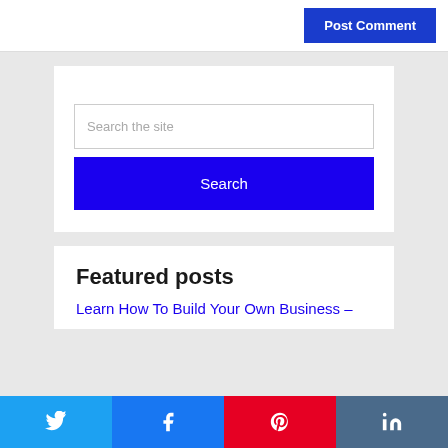[Figure (screenshot): Post Comment button in blue at top right of a comment form]
[Figure (screenshot): Search widget with a text input field labeled 'Search the site' and a blue Search button]
Featured posts
Learn How To Build Your Own Business –
[Figure (infographic): Social share bar at the bottom with Twitter, Facebook, Pinterest, and LinkedIn buttons]